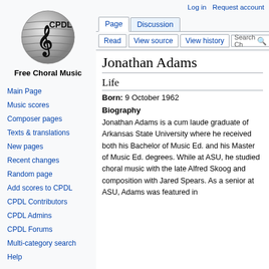Log in  Request account
[Figure (logo): CPDL globe logo with treble clef]
Free Choral Music
Main Page
Music scores
Composer pages
Texts & translations
New pages
Recent changes
Random page
Add scores to CPDL
CPDL Contributors
CPDL Admins
CPDL Forums
Multi-category search
Help
Jonathan Adams
Life
Born: 9 October 1962
Biography
Jonathan Adams is a cum laude graduate of Arkansas State University where he received both his Bachelor of Music Ed. and his Master of Music Ed. degrees. While at ASU, he studied choral music with the late Alfred Skoog and composition with Jared Spears. As a senior at ASU, Adams was featured in "Who's Who Among American College..."